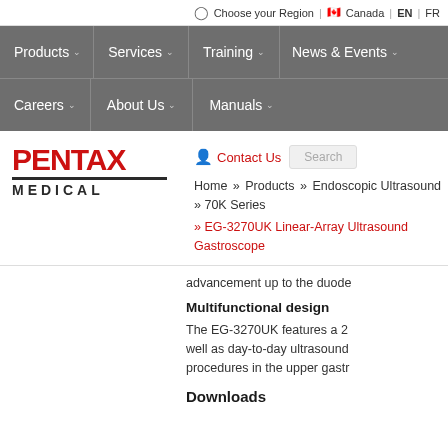Choose your Region | Canada | EN | FR
[Figure (screenshot): Website navigation bar with menu items: Products, Services, Training, News & Events, Careers, About Us, Manuals — each with dropdown chevrons, on a grey background]
[Figure (logo): PENTAX MEDICAL logo in red and dark grey]
Contact Us
Search
Home » Products » Endoscopic Ultrasound » 70K Series
» EG-3270UK Linear-Array Ultrasound Gastroscope
advancement up to the duode
Multifunctional design
The EG-3270UK features a 2... well as day-to-day ultrasound procedures in the upper gastr
Downloads